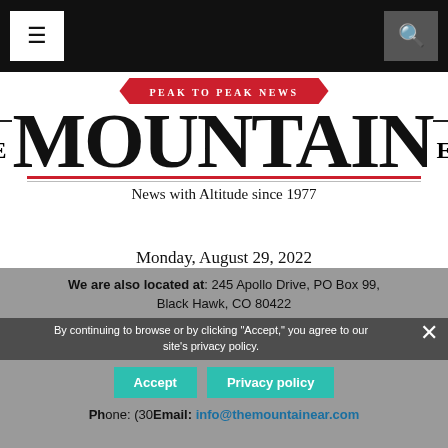[Navigation bar with menu and search buttons]
[Figure (logo): The Mountain Ear newspaper logo with 'Peak to Peak News' ribbon banner and tagline 'News with Altitude since 1977']
Monday, August 29, 2022
The Mountain-Ear is located at: 20 E. Lakeview Drive, Unit 109 (inside Brightwood Music). Our mailing address is PO Box 99, Nederland, CO 80466
We are also located at: 245 Apollo Drive, PO Box 99, Black Hawk, CO 80422
By continuing to browse or by clicking "Accept," you agree to our site's privacy policy.
Phone: (303) [partially visible]
Email: info@themountainear.com